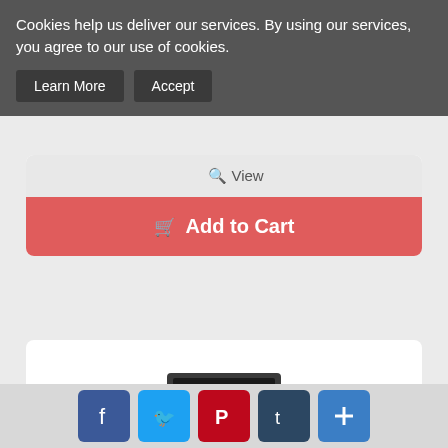Cookies help us deliver our services. By using our services, you agree to our use of cookies.
Learn More | Accept
Add to Cart
[Figure (photo): RF Explorer and Handheld Spectrum Analyzer device in a carrying case, open to show the device inside]
RF Explorer and Handheld Spectrum Analyz...
only $179.99
[Figure (infographic): Social media sharing buttons: Facebook, Twitter, Pinterest, Tumblr, and a plus/share button]